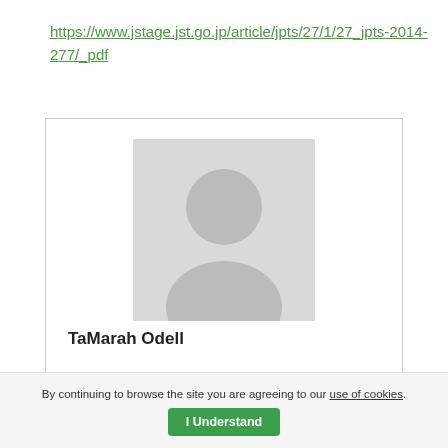https://www.jstage.jst.go.jp/article/jpts/27/1/27_jpts-2014-277/_pdf
[Figure (photo): Profile card with a generic placeholder avatar (grey silhouette of a person) and the name TaMarah Odell below it.]
TaMarah Odell
By continuing to browse the site you are agreeing to our use of cookies. I Understand